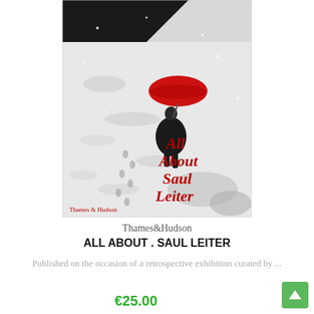[Figure (photo): Book cover of 'All About Saul Leiter' published by Thames & Hudson. Black and white snowy street scene with a lone figure in dark coat holding a bright red umbrella. Footprints in snow. Red serif title text 'All About Saul Leiter' on right side. 'Thames & Hudson' text at bottom left.]
Thames&Hudson
ALL ABOUT . SAUL LEITER
Published on the occasion of a retrospective exhibition curated by ...
€25.00